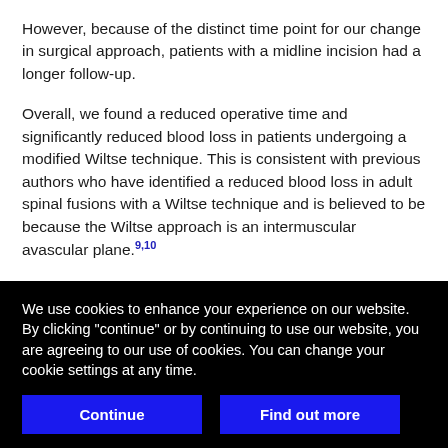However, because of the distinct time point for our change in surgical approach, patients with a midline incision had a longer follow-up.
Overall, we found a reduced operative time and significantly reduced blood loss in patients undergoing a modified Wiltse technique. This is consistent with previous authors who have identified a reduced blood loss in adult spinal fusions with a Wiltse technique and is believed to be because the Wiltse approach is an intermuscular avascular plane.[9,10]
Similarly, because this approach is muscle sparing, previous authors have proposed that it enhances recovery and reduces hospital LOS.[10,11] Our results did not demonstrate a significant difference in
We use cookies to enhance your experience on our website. By clicking "continue" or by continuing to use our website, you are agreeing to our use of cookies. You can change your cookie settings at any time.